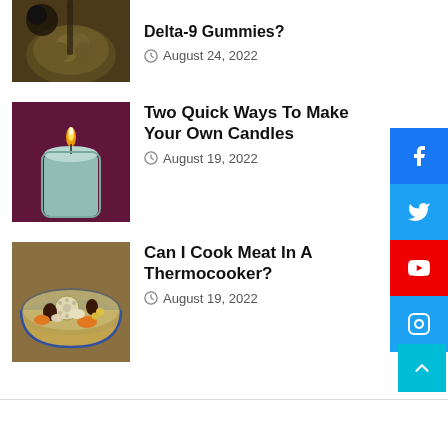[Figure (photo): Cannabis buds on a surface with smoke]
Delta-9 Gummies?
August 24, 2022
[Figure (photo): A lit blue candle in a glass on a dark red cloth]
Two Quick Ways To Make Your Own Candles
August 19, 2022
[Figure (photo): A bowl of Asian soup with mushrooms, lotus root, and vegetables]
Can I Cook Meat In A Thermocooker?
August 19, 2022